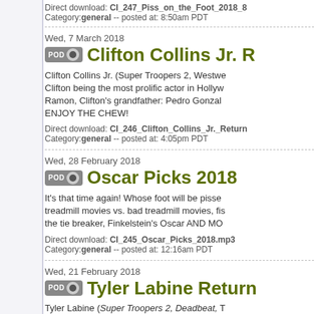Direct download: CI_247_Piss_on_the_Foot_2018_8... Category:general -- posted at: 8:50am PDT
Wed, 7 March 2018
Clifton Collins Jr. R
Clifton Collins Jr. (Super Troopers 2, Westw... Clifton being the most prolific actor in Hollyw... Ramon, Clifton's grandfather: Pedro Gonzal... ENJOY THE CHEW!
Direct download: CI_246_Clifton_Collins_Jr._Return... Category:general -- posted at: 4:05pm PDT
Wed, 28 February 2018
Oscar Picks 2018
It's that time again! Whose foot will be pisse... treadmill movies vs. bad treadmill movies, fis... the tie breaker, Finkelstein's Oscar AND MO...
Direct download: CI_245_Oscar_Picks_2018.mp3 Category:general -- posted at: 12:16am PDT
Wed, 21 February 2018
Tyler Labine Return
Tyler Labine (Super Troopers 2, Deadbeat, T... the accent, fucking a moose, hittin' the gym,... Maze, acting roles: you win some you lose s...
Direct download: CI_244_Tyler_Labine_Returns.mp... Category:general -- posted at: 12:00am PDT